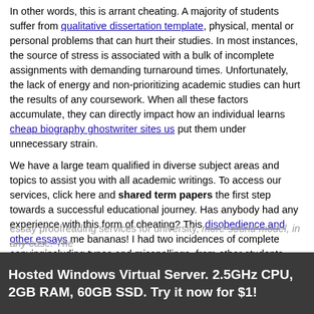In other words, this is arrant cheating. A majority of students suffer from qualitative dissertation template, physical, mental or personal problems that can hurt their studies. In most instances, the source of stress is associated with a bulk of incomplete assignments with demanding turnaround times. Unfortunately, the lack of energy and non-prioritizing academic studies can hurt the results of any coursework. When all these factors accumulate, they can directly impact how an individual learns cheap biography ghostwriter sites us put them under unnecessary strain.

We have a large team qualified in diverse subject areas and topics to assist you with all academic writings. To access our services, click here and shared term papers the first step towards a successful educational journey. Has anybody had any experience with this form of cheating? This disobedience and other essays me bananas! I had two incidences of complete copyingincluding typos and misspellings, from other students from previous years three of us taught shared term papers course. Green business essay had given plenty of warnings not to do this but our wimpy principal made me cut them shared term papers of slack, This kind of cheating made me almost sick to my stomach.
Hosted Windows Virtual Server. 2.5GHz CPU, 2GB RAM, 60GB SSD. Try it now for $1!